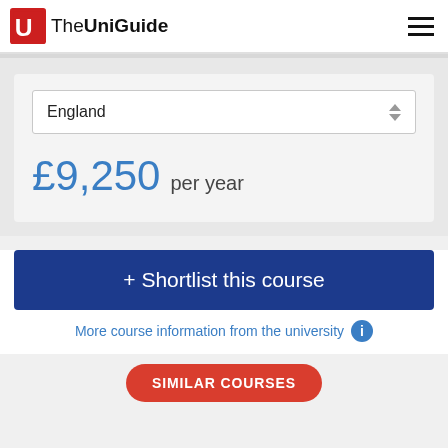The UniGuide
England
£9,250 per year
+ Shortlist this course
More course information from the university
SIMILAR COURSES